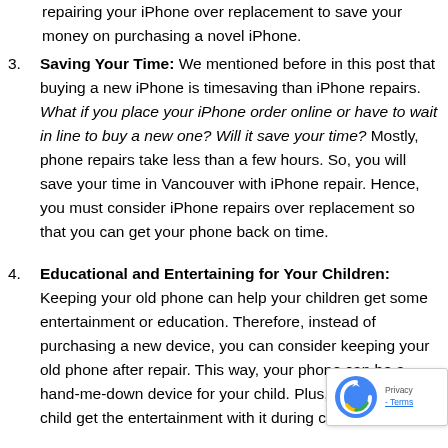repairing your iPhone over replacement to save your money on purchasing a novel iPhone.
Saving Your Time: We mentioned before in this post that buying a new iPhone is timesaving than iPhone repairs. What if you place your iPhone order online or have to wait in line to buy a new one? Will it save your time? Mostly, phone repairs take less than a few hours. So, you will save your time in Vancouver with iPhone repair. Hence, you must consider iPhone repairs over replacement so that you can get your phone back on time.
Educational and Entertaining for Your Children: Keeping your old phone can help your children get some entertainment or education. Therefore, instead of purchasing a new device, you can consider keeping your old phone after repair. This way, your phone can be a hand-me-down device for your child. Plus, you may your child get the entertainment with it during camping or a